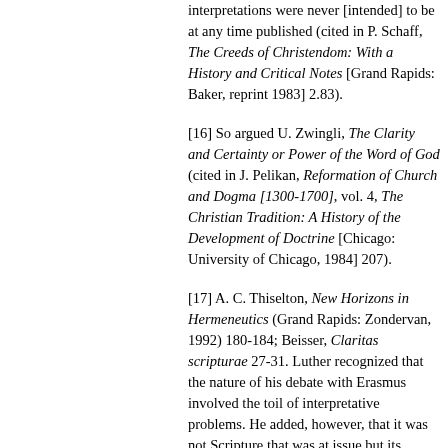interpretations were never [intended] to be at any time published (cited in P. Schaff, The Creeds of Christendom: With a History and Critical Notes [Grand Rapids: Baker, reprint 1983] 2.83).
[16] So argued U. Zwingli, The Clarity and Certainty or Power of the Word of God (cited in J. Pelikan, Reformation of Church and Dogma [1300-1700], vol. 4, The Christian Tradition: A History of the Development of Doctrine [Chicago: University of Chicago, 1984] 207).
[17] A. C. Thiselton, New Horizons in Hermeneutics (Grand Rapids: Zondervan, 1992) 180-184; Beisser, Claritas scripturae 27-31. Luther recognized that the nature of his debate with Erasmus involved the toil of interpretative problems. He added, however, that it was not Scripture that was at issue but its interpretation (Luther, Bondage 158).
[18] For example, F. Turretin insisted that Scripture not only made things clear (understood) but that "it is clear in itself" (The Doctrine of Scripture [ed. J. W. Beardslee III; Grand Rapids: Baker, 1981]